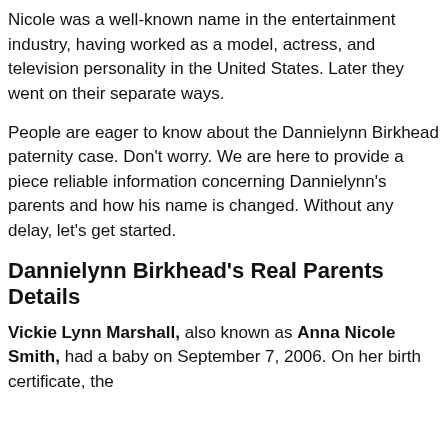Nicole was a well-known name in the entertainment industry, having worked as a model, actress, and television personality in the United States. Later they went on their separate ways.
People are eager to know about the Dannielynn Birkhead paternity case. Don't worry. We are here to provide a piece reliable information concerning Dannielynn's parents and how his name is changed. Without any delay, let's get started.
Dannielynn Birkhead's Real Parents Details
Vickie Lynn Marshall, also known as Anna Nicole Smith, had a baby on September 7, 2006. On her birth certificate, the